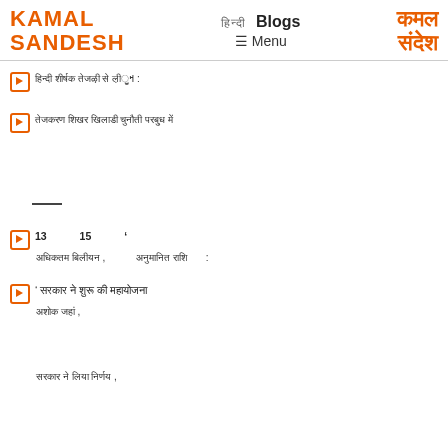KAMAL SANDESH | हिंदी | Blogs | ☰ Menu | कमल संदेश
[Figure (other): Play icon button (orange bordered square with play triangle)]
:
[Figure (other): Play icon button (orange bordered square with play triangle)]
— (horizontal rule separator)
[Figure (other): Play icon button (orange bordered square with play triangle)]
13  15  ' ,  :
[Figure (other): Play icon button (orange bordered square with play triangle)]
' ,  ,